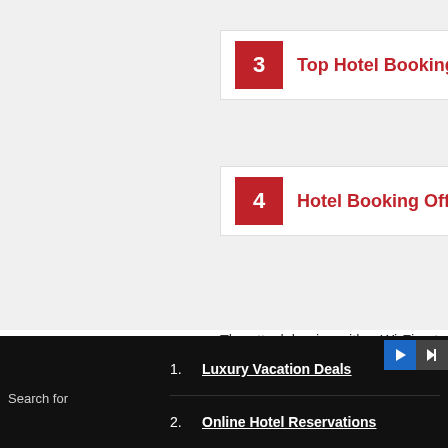3  Top Hotel Booking Services
4  Hotel Booking Offers
The attack begins with a Wi-Fi network vulnerabilities or gaining access to the h
Hackers then begin a series of phishing
The malware, dubbed Inexsmar, begins the victims' inbox.
However, these messages are individual
So, unlike other bulk phishing scams –
Speaking to ZDNet, senior threat...
Search for
1. Luxury Vacation Deals
2. Online Hotel Reservations